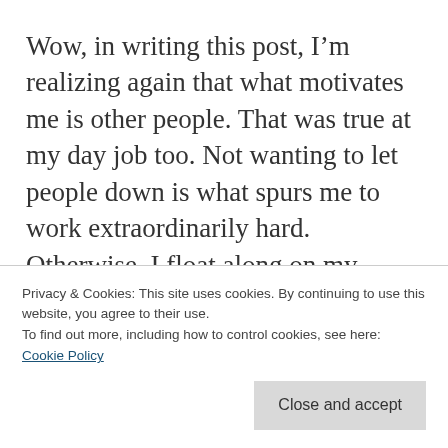Wow, in writing this post, I'm realizing again that what motivates me is other people. That was true at my day job too. Not wanting to let people down is what spurs me to work extraordinarily hard. Otherwise, I float along on my magic carpet, dreaming and enjoying, until I really have to land back down there on earth and perform or somebody is going to be disappointed.
Privacy & Cookies: This site uses cookies. By continuing to use this website, you agree to their use. To find out more, including how to control cookies, see here: Cookie Policy
joy along the way. I think the key for that is not